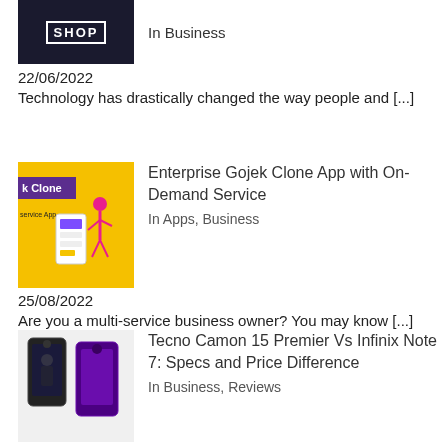[Figure (photo): Shop storefront thumbnail image, dark background with 'SHOP' text]
In Business
22/06/2022
Technology has drastically changed the way people and [...]
[Figure (photo): Yellow background app promotional image showing 'k Clone' and 'Service App' text with figure of person and phone UI]
Enterprise Gojek Clone App with On-Demand Service
In Apps, Business
25/08/2022
Are you a multi-service business owner? You may know [...]
[Figure (photo): Two smartphones side by side, one black and one purple, showing Tecno Camon 15 Premier vs Infinix Note 7]
Tecno Camon 15 Premier Vs Infinix Note 7: Specs and Price Difference
In Business, Reviews
16/04/2020
Tecno Camon 15 Premier and Infinix Note 7 are two [...]